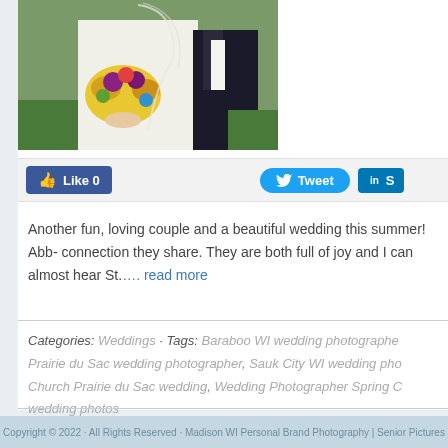[Figure (photo): Wedding photo showing bride holding a colorful yellow and purple bouquet, wearing white dress and veil, groom in black suit visible to the right]
[Figure (infographic): Social media sharing bar with Facebook Like 0 button, Twitter Tweet button, and LinkedIn share button]
Another fun, loving couple and a beautiful wedding this summer! Abb- connection they share. They are both full of joy and I can almost hear St.... read more
Categories: Weddings · Tags: Baraboo WI wedding photographer, Prairie du Sac wedding photographer, Sauk City WI wedding pho- Church Prairie du Sac wedding, Wedding Photographer Spring C- wedding photos
« Older Entries
Copyright © 2022 · All Rights Reserved · Madison WI Personal Brand Photography | Senior Pictures